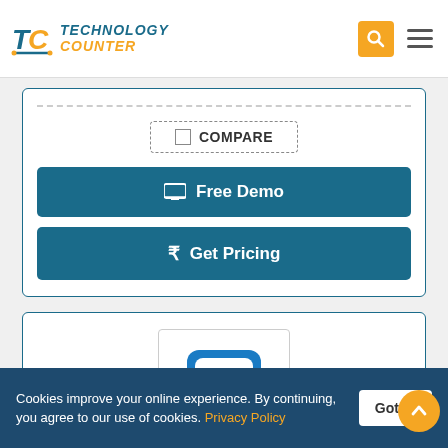Technology Counter
[Figure (logo): Technology Counter logo with stylized TC icon and orange/blue text]
COMPARE
Free Demo
₹ Get Pricing
[Figure (logo): Product logo with letter d in a blue rounded square bracket icon]
Cookies improve your online experience. By continuing, you agree to our use of cookies. Privacy Policy